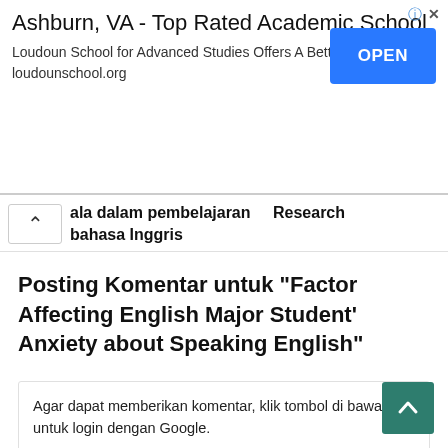[Figure (screenshot): Advertisement banner for Loudoun School for Advanced Studies. Title: 'Ashburn, VA - Top Rated Academic School'. Subtitle: 'Loudoun School for Advanced Studies Offers A Better Education. loudounschool.org'. Blue OPEN button on right.]
ala dalam pembelajaran    Research
bahasa Inggris
Posting Komentar untuk "Factor Affecting English Major Student’ Anxiety about Speaking English"
Agar dapat memberikan komentar, klik tombol di bawah untuk login dengan Google.
LOGIN DENGAN GOOGLE